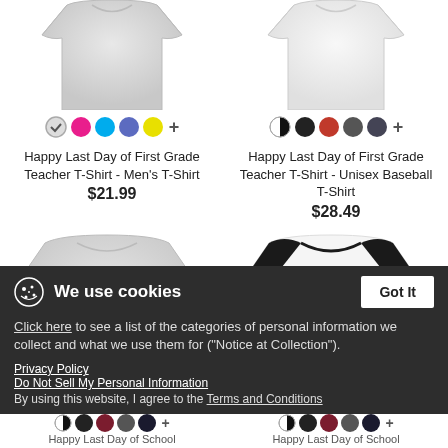[Figure (photo): Light grey men's t-shirt product image (top cropped)]
[Figure (photo): White unisex baseball t-shirt product image (top cropped)]
Happy Last Day of First Grade Teacher T-Shirt - Men's T-Shirt
$21.99
Happy Last Day of First Grade Teacher T-Shirt - Unisex Baseball T-Shirt
$28.49
[Figure (photo): Kids/youth t-shirt with colorful 'Happy Last Day of School' graphic]
[Figure (photo): Baseball raglan t-shirt with black sleeves and 'Happy Last Day of School' graphic]
We use cookies
Click here to see a list of the categories of personal information we collect and what we use them for ("Notice at Collection").
Privacy Policy
Do Not Sell My Personal Information
By using this website, I agree to the Terms and Conditions
Happy Last Day of School
Happy Last Day of School